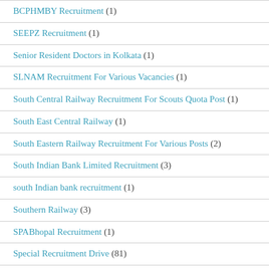BCPHMBY Recruitment (1)
SEEPZ Recruitment (1)
Senior Resident Doctors in Kolkata (1)
SLNAM Recruitment For Various Vacancies (1)
South Central Railway Recruitment For Scouts Quota Post (1)
South East Central Railway (1)
South Eastern Railway Recruitment For Various Posts (2)
South Indian Bank Limited Recruitment (3)
south Indian bank recruitment (1)
Southern Railway (3)
SPABhopal Recruitment (1)
Special Recruitment Drive (81)